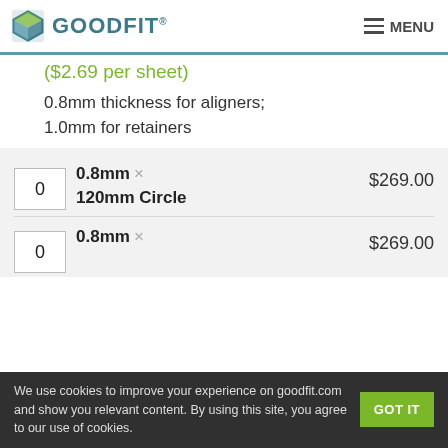GOODFIT (logo) MENU
($2.69 per sheet)
0.8mm thickness for aligners; 1.0mm for retainers
| Qty | Spec | Price |
| --- | --- | --- |
| 0 | 0.8mm × 120mm Circle | $269.00 |
| 0 | 0.8mm × | $269.00 |
We use cookies to improve your experience on goodfit.com and show you relevant content. By using this site, you agree to our use of cookies.